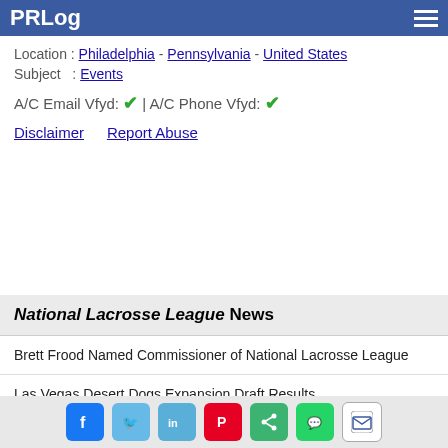PRLog
Location : Philadelphia - Pennsylvania - United States
Subject : Events
A/C Email Vfyd: ✔ | A/C Phone Vfyd: ✔
Disclaimer   Report Abuse
National Lacrosse League News
Brett Frood Named Commissioner of National Lacrosse League
Las Vegas Desert Dogs Expansion Draft Results
Bandits' Dhane Smith Wins National Lacrosse LeagueMVPs; Teat Wins Rookie of the Year
Social share bar: Facebook, Twitter, LinkedIn, Pinterest, Share, WhatsApp, Email